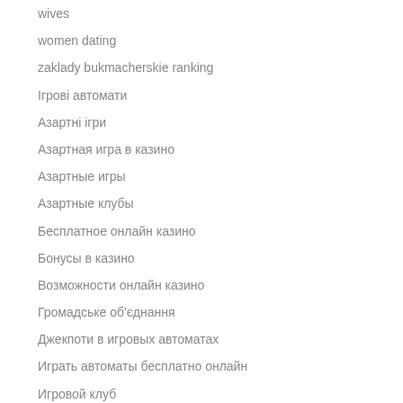wives
women dating
zaklady bukmacherskie ranking
Ігрові автомати
Азартні ігри
Азартная игра в казино
Азартные игры
Азартные клубы
Бесплатное онлайн казино
Бонусы в казино
Возможности онлайн казино
Громадське об'єднання
Джекпоти в игровых автоматах
Играть автоматы бесплатно онлайн
Игровой клуб